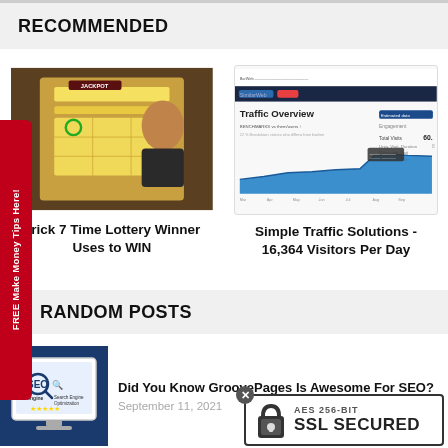RECOMMENDED
[Figure (photo): Woman holding lottery tickets in a store]
Trick 7 Time Lottery Winner Uses to WIN
[Figure (screenshot): SimilarWeb Traffic Overview screenshot showing area chart of traffic data and 16,364 visitors per day]
Simple Traffic Solutions - 16,364 Visitors Per Day
[Figure (infographic): FREE Make Money Tips Here! red vertical side banner]
RANDOM POSTS
[Figure (photo): SEO Search Engine Optimization thumbnail image]
Did You Know GroovePages Is Awesome For SEO?
September 11, 2021
[Figure (infographic): AES 256-BIT SSL SECURED badge with lock icon]